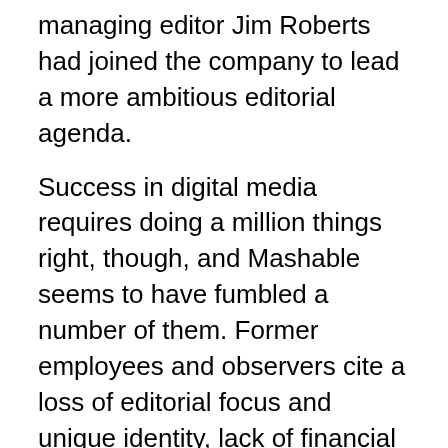managing editor Jim Roberts had joined the company to lead a more ambitious editorial agenda.
Success in digital media requires doing a million things right, though, and Mashable seems to have fumbled a number of them. Former employees and observers cite a loss of editorial focus and unique identity, lack of financial controls, an ill-executed shift to video content and hesitance to diversify revenue away from the fickle ad market. Mashable wouldn't make executives available for this story.
BuzzFeed envy
All this time, people at Mashable were closely watching BuzzFeed, which like Mashable, started